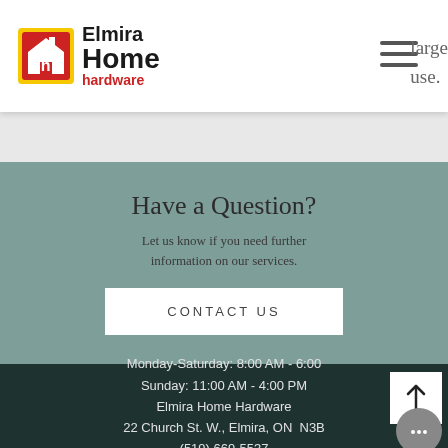[Figure (logo): Elmira Home Hardware logo with red square icon containing 'dh' letters and text 'Elmira Home hardware']
[Figure (other): Hamburger menu icon (three horizontal lines)]
large use.
Have a Question?
Let us know if you need further information on our services.
CONTACT US
Monday-Saturday: 8:00 AM - 6:00
Sunday: 11:00 AM - 4:00 PM
Elmira Home Hardware
22 Church St. W., Elmira, ON  N3B
(519) 669-5537